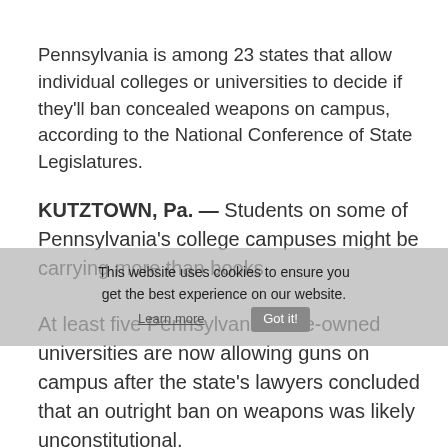Pennsylvania is among 23 states that allow individual colleges or universities to decide if they'll ban concealed weapons on campus, according to the National Conference of State Legislatures.
KUTZTOWN, Pa. — Students on some of Pennsylvania's college campuses might be carrying more than books.
At least five Pennsylvania state-owned universities are now allowing guns on campus after the state's lawyers concluded that an outright ban on weapons was likely unconstitutional.